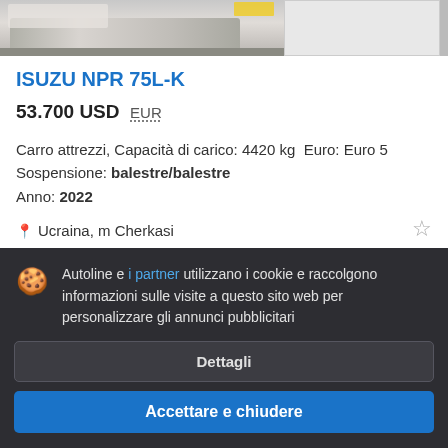[Figure (photo): Partial view of a tow truck (Isuzu NPR 75L-K) at top left, with a second partially visible image at top right]
ISUZU NPR 75L-K
53.700 USD  EUR
Carro attrezzi, Capacità di carico: 4420 kg  Euro: Euro 5
Sospensione: balestre/balestre
Anno: 2022
Ucraina, m Cherkasi
Autoline e i partner utilizzano i cookie e raccolgono informazioni sulle visite a questo sito web per personalizzare gli annunci pubblicitari
Dettagli
Accettare e chiudere